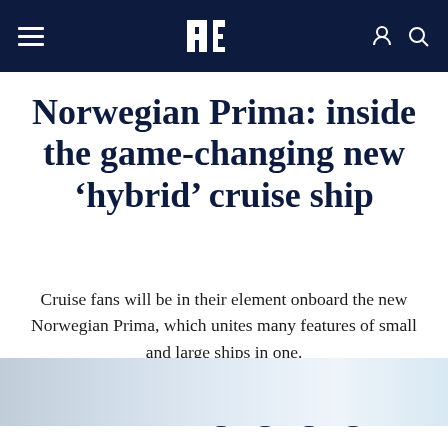Norwegian Prima article header navigation bar
Norwegian Prima: inside the game-changing new ‘hybrid’ cruise ship
Cruise fans will be in their element onboard the new Norwegian Prima, which unites many features of small and large ships in one.
By Chris Ashton, August 26 2022
Share this article:
[Figure (photo): Partial view of a cruise ship or sky at the bottom of the page]